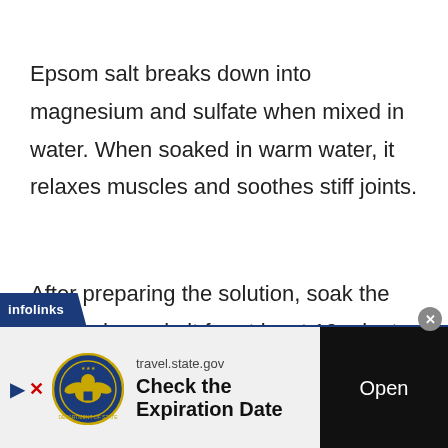Epsom salt breaks down into magnesium and sulfate when mixed in water. When soaked in warm water, it relaxes muscles and soothes stiff joints.
After preparing the solution, soak the affected area in it for at least 10 minutes and then rinse it with fresh water.
[Figure (screenshot): Infolinks advertisement banner for travel.state.gov - Check the Expiration Date with an Open button]